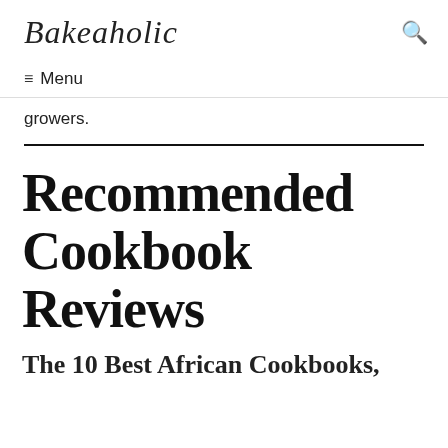Bakeaholic
Menu
growers.
Recommended Cookbook Reviews
The 10 Best African Cookbooks,